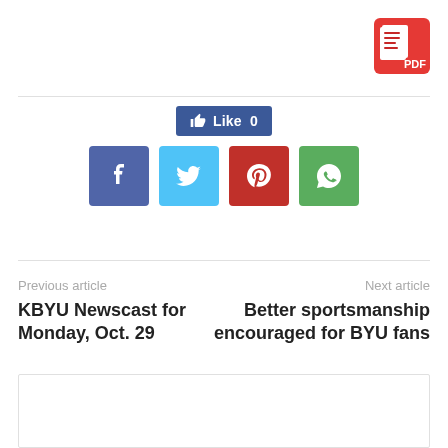[Figure (logo): Red PDF icon with document lines in top-right corner]
[Figure (infographic): Facebook Like button showing Like 0 count, and four social media share icons: Facebook (blue), Twitter (cyan), Pinterest (red), WhatsApp (green)]
Previous article
KBYU Newscast for Monday, Oct. 29
Next article
Better sportsmanship encouraged for BYU fans